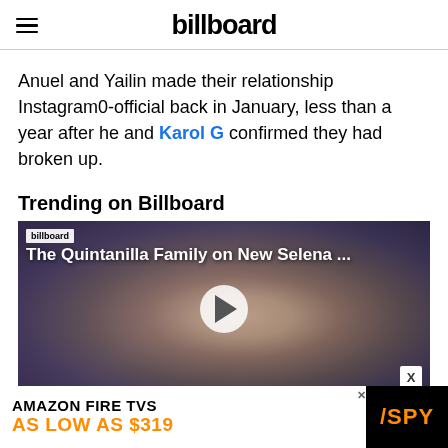billboard
Anuel and Yailin made their relationship Instagram0-official back in January, less than a year after he and Karol G confirmed they had broken up.
Trending on Billboard
[Figure (screenshot): Video thumbnail showing The Quintanilla Family on New Selena ... with a play button overlay, Billboard badge, and a woman's face in the background]
[Figure (infographic): Advertisement banner: AMAZON FIRE TVS AS LOW AS $319 with SPY logo]